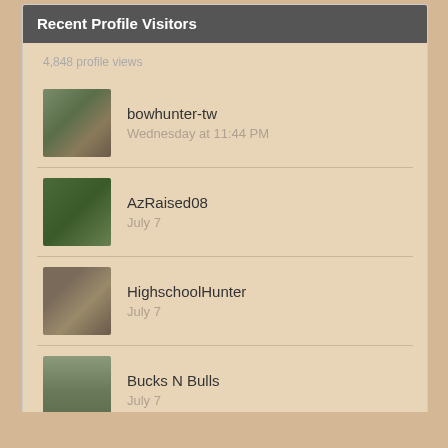Recent Profile Visitors
4,848 profile views
bowhunter-tw
Wednesday at 11:44 PM
AzRaised08
July 7
HighschoolHunter
July 7
Bucks N Bulls
July 7
galiuro mountain man
July 3
Rubberduckie
April 23